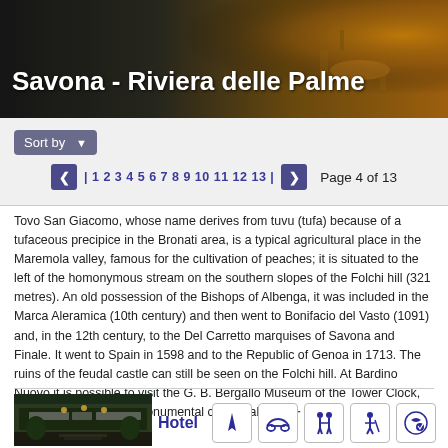[Figure (photo): Hero banner image of Savona - Riviera delle Palme, showing a restaurant/street scene at night with warm amber lighting on the right side]
Savona - Riviera delle Palme
Sort by  | 1 2 3 4 5 6 7 8 9 10 11 12 13 |  Page 4 of 13
Tovo San Giacomo, whose name derives from tuvu (tufa) because of a tufaceous precipice in the Bronati area, is a typical agricultural place in the Maremola valley, famous for the cultivation of peaches; it is situated to the left of the homonymous stream on the southern slopes of the Folchi hill (321 metres). An old possession of the Bishops of Albenga, it was included in the Marca Aleramica (10th century) and then went to Bonifacio del Vasto (1091) and, in the 12th century, to the Del Carretto marquises of Savona and Finale. It went to Spain in 1598 and to the Republic of Genoa in 1713. The ruins of the feudal castle can still be seen on the Folchi hill. At Bardino Nuovo it is possible to visit the G. B. Bergallo Museum of the Tower Clock, the Italian museum of monumental clock making. ( + More )
[Figure (photo): Hotel Curtis Inn Centrale storefront with entrance, trees, and lit signage]
Hotel